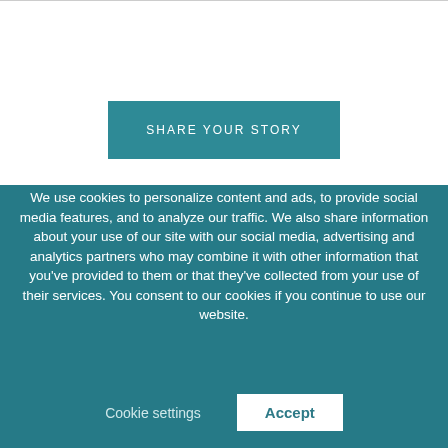[Figure (screenshot): White top section with a horizontal rule at the top and a teal 'SHARE YOUR STORY' button centered in the middle]
We use cookies to personalize content and ads, to provide social media features, and to analyze our traffic. We also share information about your use of our site with our social media, advertising and analytics partners who may combine it with other information that you've provided to them or that they've collected from your use of their services. You consent to our cookies if you continue to use our website.
Cookie settings
Accept